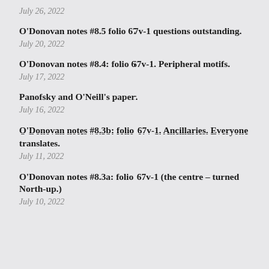July 26, 2022
O'Donovan notes #8.5 folio 67v-1 questions outstanding.
July 20, 2022
O'Donovan notes #8.4: folio 67v-1. Peripheral motifs.
July 17, 2022
Panofsky and O'Neill's paper.
July 16, 2022
O'Donovan notes #8.3b: folio 67v-1. Ancillaries. Everyone translates.
July 11, 2022
O'Donovan notes #8.3a: folio 67v-1 (the centre – turned North-up.)
July 10, 2022